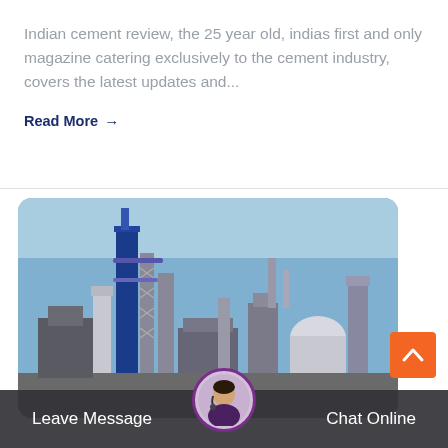Indian cement review, the 25 year old, indias first and only magazine catering exclusively to the cement industry, covers the latest updates and...
Read More →
[Figure (photo): Photo of a cement factory/industrial plant with tall towers, pipes, and steel structures against a blue sky.]
Leave Message   Chat Online